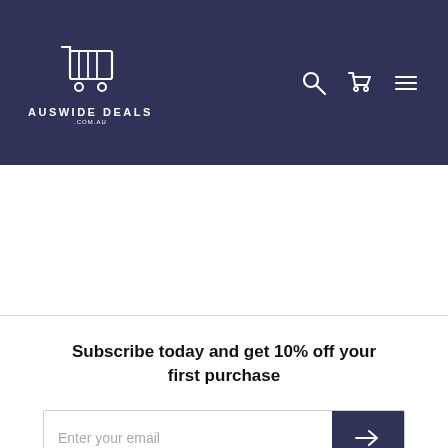[Figure (logo): Auswide Deals logo: shopping cart icon with text AUSWIDE DEALS and .com.au below, white on dark navy background]
$1,554.00
$1,55...
Subscribe today and get 10% off your first purchase
Enter your email